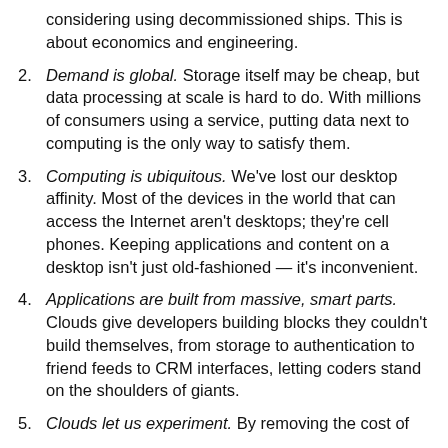considering using decommissioned ships. This is about economics and engineering.
2. Demand is global. Storage itself may be cheap, but data processing at scale is hard to do. With millions of consumers using a service, putting data next to computing is the only way to satisfy them.
3. Computing is ubiquitous. We've lost our desktop affinity. Most of the devices in the world that can access the Internet aren't desktops; they're cell phones. Keeping applications and content on a desktop isn't just old-fashioned — it's inconvenient.
4. Applications are built from massive, smart parts. Clouds give developers building blocks they couldn't build themselves, from storage to authentication to friend feeds to CRM interfaces, letting coders stand on the shoulders of giants.
5. Clouds let us experiment. By removing the cost of